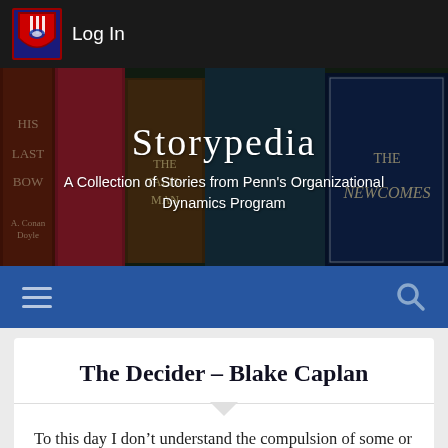[Figure (screenshot): University of Pennsylvania shield logo in top navigation bar]
Log In
[Figure (photo): Hero banner with books in the background showing Storypedia title and subtitle: A Collection of Stories from Penn's Organizational Dynamics Program]
The Decider – Blake Caplan
To this day I don't understand the compulsion of some or most to overindulge on New Year's Eve